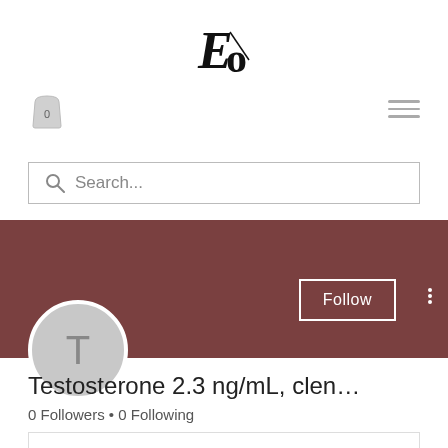[Figure (logo): Stylized 'Eo' logo in serif italic font, black on white]
[Figure (illustration): Shopping bag icon with '0' count indicator]
[Figure (illustration): Hamburger menu icon with three horizontal lines]
Search...
[Figure (illustration): Dark mauve/brown profile banner with Follow button and three-dot menu]
[Figure (illustration): Gray circle avatar with letter T]
Testosterone 2.3 ng/mL, clen…
0 Followers • 0 Following